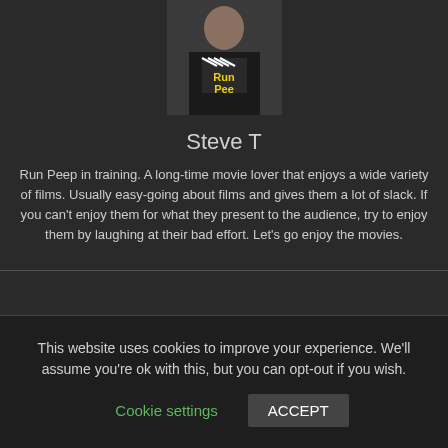[Figure (photo): Profile photo of Steve T wearing a black 'Run Peep' t-shirt with a clapperboard graphic]
Steve T
Run Peep in training. A long-time movie lover that enjoys a wide variety of films. Usually easy-going about films and gives them a lot of slack. If you can't enjoy them for what they present to the audience, try to enjoy them by laughing at their bad effort. Let's go enjoy the movies.
This website uses cookies to improve your experience. We'll assume you're ok with this, but you can opt-out if you wish.